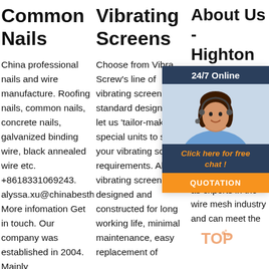Common Nails
China professional nails and wire manufacture. Roofing nails, common nails, concrete nails, galvanized binding wire, black annealed wire etc. +8618331069243. alyssa.xu@chinabesthw.com More infomation Get in touch. Our company was established in 2004. Mainly
Vibrating Screens
Choose from Vibra Screw's line of vibrating screen standard designs or let us 'tailor-make' special units to suit your vibrating screen requirements. All vibrating screens are designed and constructed for long working life, minimal maintenance, easy replacement of
About Us - Highton
2023. 4u2b mesh. HIGHTON manufacturer and provider of aluminum mesh. We are regarded as experts in the wire mesh industry and can meet the
[Figure (photo): Chat widget with a woman wearing a headset, 24/7 Online header, Click here for free chat link, and QUOTATION button]